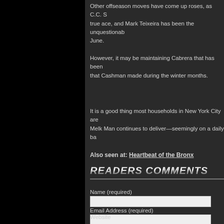Other offseason moves have come up roses, as C.C. S... true ace, and Mark Teixeira has been the unquestionab... June.
However, it may be maintaining Cabrera that has been ... that Cashman made during the winter months.
It is a good thing most households in New York City are... Melk Man continues to deliver—seemingly on a daily ba...
Also seen at:  Heartbeat of the Bronx
READERS COMMENTS
Name (required)
Email Address (required)
Website